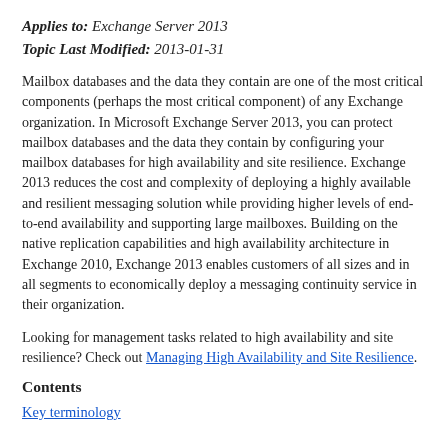Applies to: Exchange Server 2013
Topic Last Modified: 2013-01-31
Mailbox databases and the data they contain are one of the most critical components (perhaps the most critical component) of any Exchange organization. In Microsoft Exchange Server 2013, you can protect mailbox databases and the data they contain by configuring your mailbox databases for high availability and site resilience. Exchange 2013 reduces the cost and complexity of deploying a highly available and resilient messaging solution while providing higher levels of end-to-end availability and supporting large mailboxes. Building on the native replication capabilities and high availability architecture in Exchange 2010, Exchange 2013 enables customers of all sizes and in all segments to economically deploy a messaging continuity service in their organization.
Looking for management tasks related to high availability and site resilience? Check out Managing High Availability and Site Resilience.
Contents
Key terminology